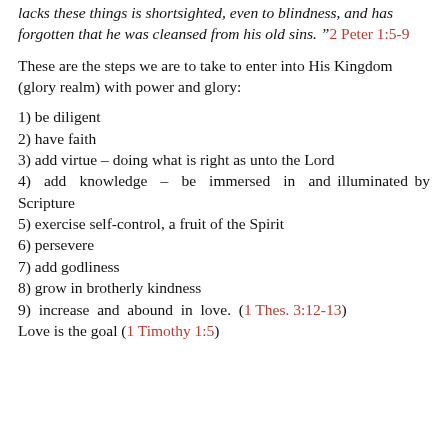lacks these things is shortsighted, even to blindness, and has forgotten that he was cleansed from his old sins." 2 Peter 1:5-9
These are the steps we are to take to enter into His Kingdom (glory realm) with power and glory:
1) be diligent
2) have faith
3) add virtue – doing what is right as unto the Lord
4) add knowledge – be immersed in and illuminated by Scripture
5) exercise self-control, a fruit of the Spirit
6) persevere
7) add godliness
8) grow in brotherly kindness
9) increase and abound in love. (1 Thes. 3:12-13)
Love is the goal (1 Timothy 1:5)